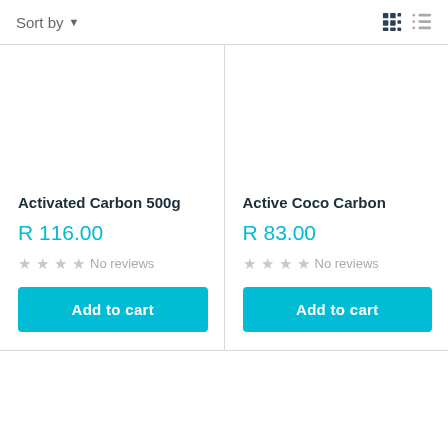Sort by
[Figure (screenshot): Product listing page showing two products: Activated Carbon 500g at R 116.00 and Active Coco Carbon at R 83.00, each with No reviews and Add to cart buttons]
Activated Carbon 500g
R 116.00
No reviews
Add to cart
Active Coco Carbon
R 83.00
No reviews
Add to cart